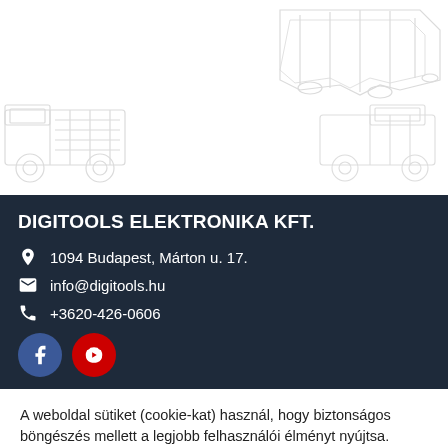[Figure (illustration): Light gray line-art illustration of industrial/engineering vehicles (trucks, machinery) on a white background]
DIGITOOLS ELEKTRONIKA KFT.
1094 Budapest, Márton u. 17.
info@digitools.hu
+3620-426-0606
[Figure (illustration): Facebook and YouTube social media icon circles (blue and red)]
A weboldal sütiket (cookie-kat) használ, hogy biztonságos böngészés mellett a legjobb felhasználói élményt nyújtsa. Amennyiben Ön ezt elfogadja , kérjük kattintson az "Elfogadom" gombra.
Elfogadom